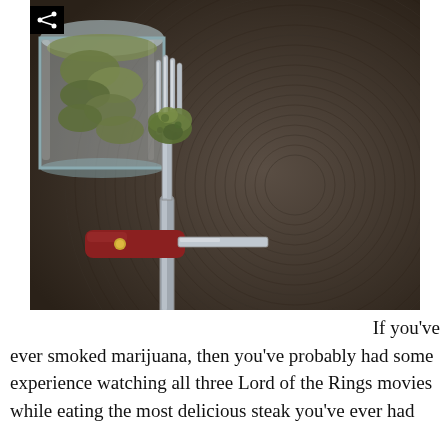[Figure (photo): Close-up photo of a marijuana bud placed on the tines of a silver fork, resting on a textured dark circular woven placemat. A glass jar containing marijuana is visible in the upper left. A red-handled butter knife is visible in the lower left. A share icon (less-than symbol with dots) appears in the upper left corner of the image.]
If you've ever smoked marijuana, then you've probably had some experience watching all three Lord of the Rings movies while eating the most delicious steak you've ever had